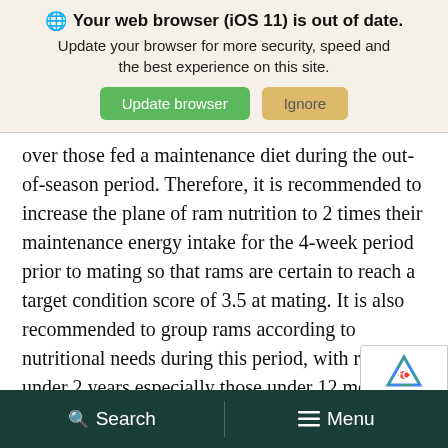[Figure (screenshot): Browser update notification banner with globe icon, bold title 'Your web browser (iOS 11) is out of date.', subtitle text, and two buttons: green 'Update browser' and tan 'Ignore']
over those fed a maintenance diet during the out-of-season period.  Therefore, it is recommended to increase the plane of ram nutrition to 2 times their maintenance energy intake for the 4-week period prior to mating so that rams are certain to reach a target condition score of 3.5 at mating.  It is also recommended to group rams according to nutritional needs during this period, with rams under 2 years especially those under 12 months, grouped separately from mature rams.  The working
Search   Menu